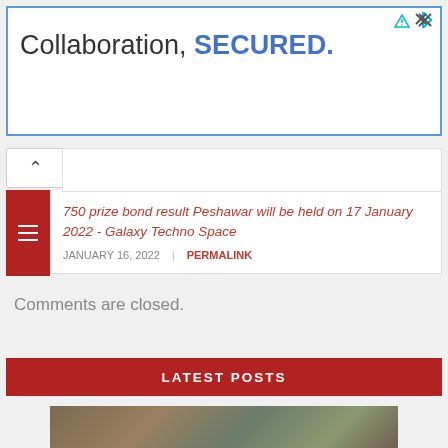[Figure (other): Advertisement banner with text 'Collaboration, SECURED.' with blue border and ad icons]
750 prize bond result Peshawar will be held on 17 January 2022 - Galaxy Techno Space
JANUARY 16, 2022  |  PERMALINK
Comments are closed.
LATEST POSTS
[Figure (photo): Photo of hands holding US dollar bills and prize bond lottery tickets]